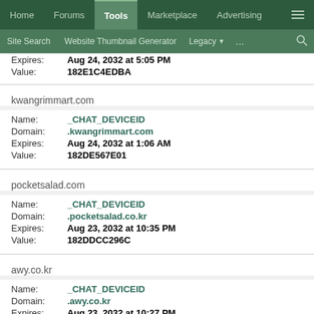Home | Forums | Tools | Marketplace | Advertising | ≡
Site Search | Website Thumbnail Generator | Legacy ▼ | ... | 🔍
Expires: Aug 24, 2032 at 5:05 PM
Value: 182E1C4EDBA
kwangrimmart.com
Name: _CHAT_DEVICEID
Domain: .kwangrimmart.com
Expires: Aug 24, 2032 at 1:06 AM
Value: 182DE567E01
pocketsalad.com
Name: _CHAT_DEVICEID
Domain: .pocketsalad.co.kr
Expires: Aug 23, 2032 at 10:35 PM
Value: 182DDCC296C
awy.co.kr
Name: _CHAT_DEVICEID
Domain: .awy.co.kr
Expires: Aug 23, 2032 at 10:27 PM
Value: 182DDC49A04
orpuri.com